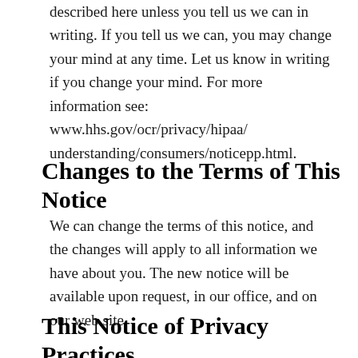We will not use or share your information other than as described here unless you tell us we can in writing. If you tell us we can, you may change your mind at any time. Let us know in writing if you change your mind. For more information see: www.hhs.gov/ocr/privacy/hipaa/understanding/consumers/noticepp.html.
Changes to the Terms of This Notice
We can change the terms of this notice, and the changes will apply to all information we have about you. The new notice will be available upon request, in our office, and on our web site.
This Notice of Privacy Practices applies to all the organizations on